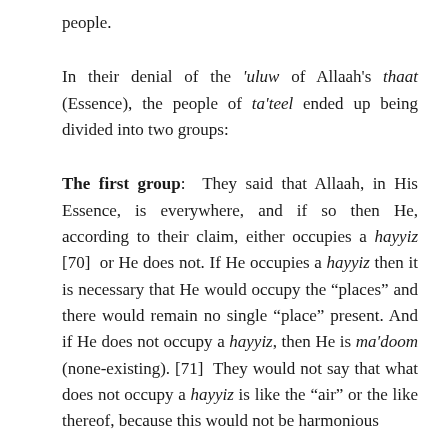people.
In their denial of the ‘uluw of Allaah’s thaat (Essence), the people of ta’teel ended up being divided into two groups:
The first group: They said that Allaah, in His Essence, is everywhere, and if so then He, according to their claim, either occupies a hayyiz [70] or He does not. If He occupies a hayyiz then it is necessary that He would occupy the “places” and there would remain no single “place” present. And if He does not occupy a hayyiz, then He is ma’doom (none-existing). [71] They would not say that what does not occupy a hayyiz is like the “air” or the like thereof, because this would not be harmonious